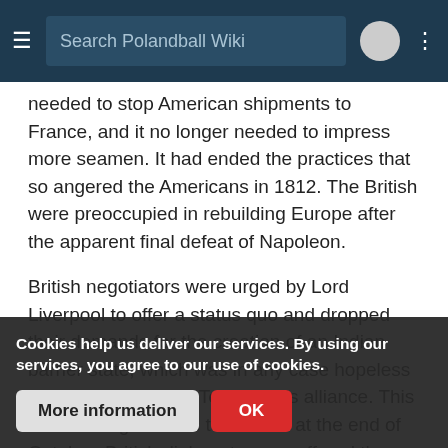Search Polandball Wiki
needed to stop American shipments to France, and it no longer needed to impress more seamen. It had ended the practices that so angered the Americans in 1812. The British were preoccupied in rebuilding Europe after the apparent final defeat of Napoleon.
British negotiators were urged by Lord Liverpool to offer a status quo and dropped their demands for the creation of an Indian barrier state, which was in any case hopeless after the collapse of Tecumseh's alliance. This allowed negotiations to resume at the end of October. British diplomats soon offered the status quo to the US negotiators, who accepted them. Prisoners would be exchanged, and captured slaves returned to the United
On December 24, 1814 the diplomats had finished and signed the Tre... ratified by the
Cookies help us deliver our services. By using our services, you agree to our use of cookies.